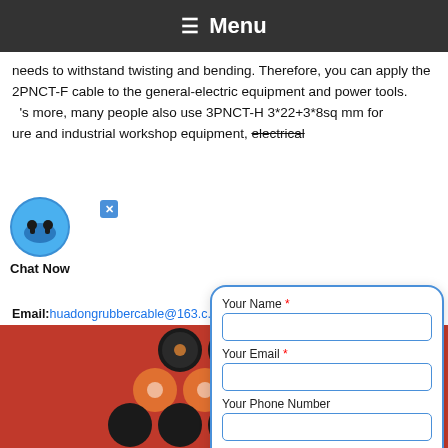Menu
needs to withstand twisting and bending. Therefore, you can apply the 2PNCT-F cable to the general-electric equipment and power tools. What's more, many people also use 3PNCT-H 3*22+3*8sq mm for ure and industrial workshop equipment, electrical
Email:huadongrubbercable@163.co...
Chat Now
[Figure (photo): Stack of rubber/electric cable cross-sections showing various colored cores arranged in pyramid formation on red background]
[Figure (screenshot): Contact form overlay with fields: Your Name, Your Email, Your Phone Number, Detailed Requirement, and a Get Quote button in blue]